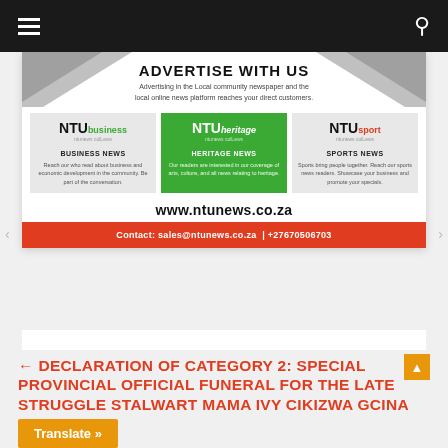NTU News navigation bar
[Figure (infographic): NTU News advertise with us banner showing three sections: NTU Business, NTU Heritage (green background), and NTU Sport, with website www.ntunews.co.za and contact bar: Contact: sales@ntunews.co.za | +27670506703]
← DECLARATION OF CATEGORY 2: SPECIAL PROVINCIAL OFFICIAL FUNERAL FOR THE LATE STRUGGLE STALWART MAMA IVY CIKIZWA GCINA